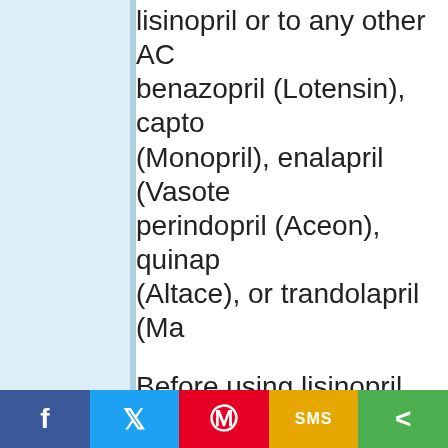lisinopril or to any other ACE inhibitors such as benazepril (Lotensin), captopril (Capoten), fosinopril (Monopril), enalapril (Vasotec), moexipril (Univasc), perindopril (Aceon), quinapril (Accupril), ramipril (Altace), or trandolapril (Mavik).
Before using lisinopril, tell your doctor if you are allergic to any drugs, or if you have:
kidney disease (or if you are on dialysis)
liver disease
heart disease or congestive heart failure